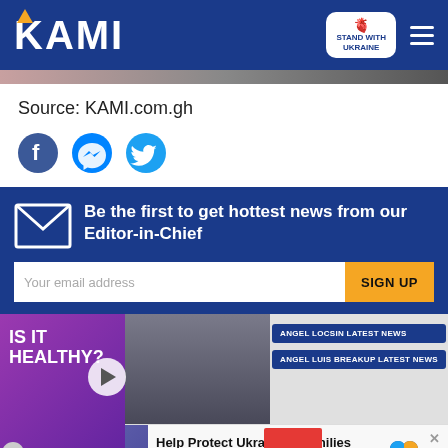KAMI — STAND WITH UKRAINE
Source: KAMI.com.gh
[Figure (infographic): Three circular social media share buttons: Facebook (blue), Messenger (blue), Twitter (blue)]
Be the first to get hottest news from our Editor-in-Chief
Your email address | SIGN UP
[Figure (screenshot): Video thumbnail with 'IS IT HEALTHY?' label and play button, overlaid with photo of two people]
ANGEL LOCSIN LATEST NEWS
ANGEL LUIS BREAKUP LATEST NEWS
Help Protect Ukrainian Families DONATE NOW